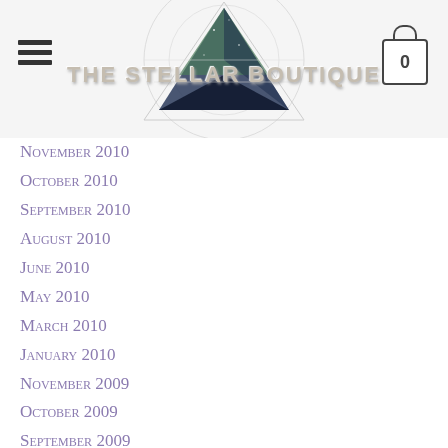THE STELLAR BOUTIQUE
November 2010
October 2010
September 2010
August 2010
June 2010
May 2010
March 2010
January 2010
November 2009
October 2009
September 2009
CATEGORIES
Blog Entries